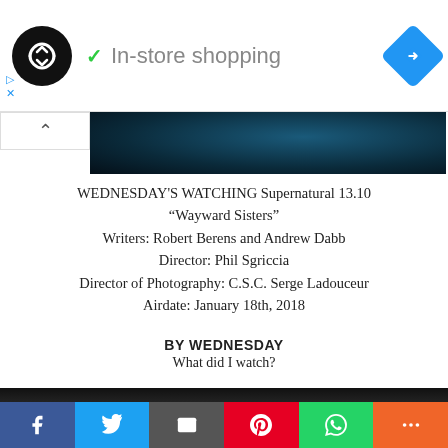[Figure (screenshot): Ad banner with circular logo, checkmark, 'In-store shopping' text, and blue navigation arrow icon]
[Figure (screenshot): Dark teal/blue image strip from a TV show, partially visible]
WEDNESDAY'S WATCHING Supernatural 13.10 “Wayward Sisters”
Writers: Robert Berens and Andrew Dabb
Director: Phil Sgriccia
Director of Photography: C.S.C. Serge Ladouceur
Airdate: January 18th, 2018
BY WEDNESDAY
What did I watch?
[Figure (screenshot): Social media share bar with Facebook, Twitter, Email, Pinterest, WhatsApp, and More buttons]